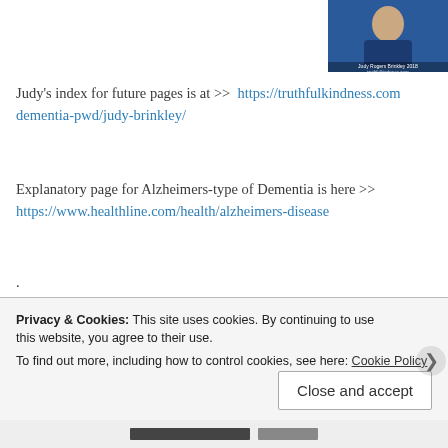[Figure (photo): Profile photo of Judy Rogers Brinkley 2018 from truthfulkindness.com, showing a person in a blue shirt]
Judy's index for future pages is at >>  https://truthfulkindness.com/dementia-pwd/judy-brinkley/
Explanatory page for Alzheimers-type of Dementia is here >> https://www.healthline.com/health/alzheimers-disease
.
* Admin issues: SHARE dementia awareness thru buttons below... your thoughts in the form of comments, but please filter your com... loving kindness to all concerned. If interested in receiving notice of postings, subscriptions are available through a “follow” button in (MS Explorer) or lower right (Safari, Mozilla Firefox and Chrome...
Privacy & Cookies: This site uses cookies. By continuing to use this website, you agree to their use.
To find out more, including how to control cookies, see here: Cookie Policy
Close and accept